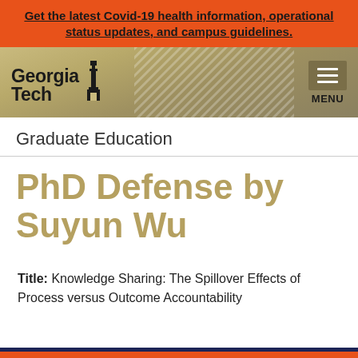Get the latest Covid-19 health information, operational status updates, and campus guidelines.
[Figure (logo): Georgia Tech logo with tower icon and hamburger menu button labeled MENU]
Graduate Education
PhD Defense by Suyun Wu
Title: Knowledge Sharing: The Spillover Effects of Process versus Outcome Accountability